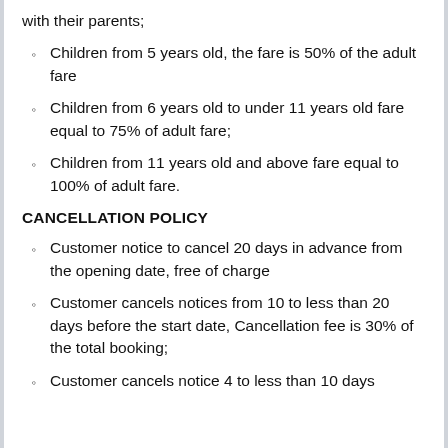with their parents;
Children from 5 years old, the fare is 50% of the adult fare
Children from 6 years old to under 11 years old fare equal to 75% of adult fare;
Children from 11 years old and above fare equal to 100% of adult fare.
CANCELLATION POLICY
Customer notice to cancel 20 days in advance from the opening date, free of charge
Customer cancels notices from 10 to less than 20 days before the start date, Cancellation fee is 30% of the total booking;
Customer cancels notice 4 to less than 10 days